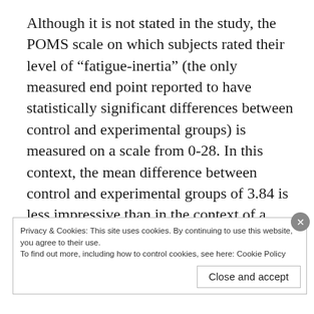Although it is not stated in the study, the POMS scale on which subjects rated their level of “fatigue-inertia” (the only measured end point reported to have statistically significant differences between control and experimental groups) is measured on a scale from 0-28. In this context, the mean difference between control and experimental groups of 3.84 is less impressive than in the context of a smaller scale that seems a sensible conclusion from reading the study, given
Privacy & Cookies: This site uses cookies. By continuing to use this website, you agree to their use.
To find out more, including how to control cookies, see here: Cookie Policy